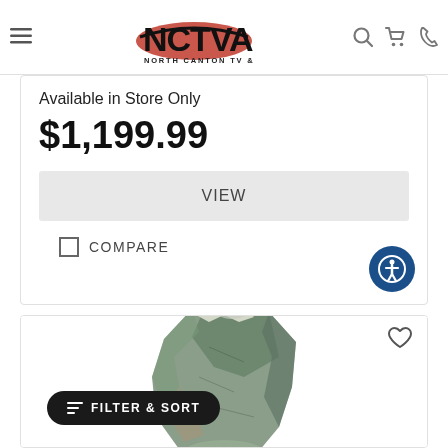[Figure (logo): NCTVA North Canton TV & Appliance logo with red oval and black text]
Available in Store Only
$1,199.99
VIEW
COMPARE
[Figure (photo): A large natural rock/stone displayed against white background]
FILTER & SORT